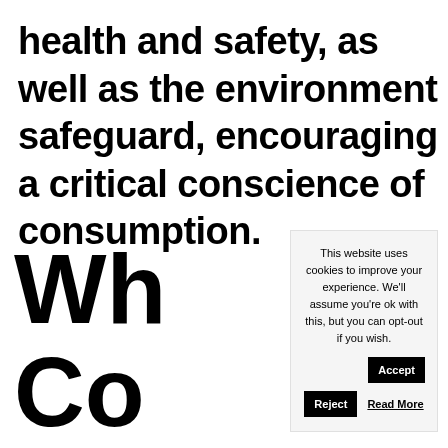health and safety, as well as the environment safeguard, encouraging a critical conscience of consumption.
Wh Co sup values
This website uses cookies to improve your experience. We'll assume you're ok with this, but you can opt-out if you wish. Accept Reject Read More